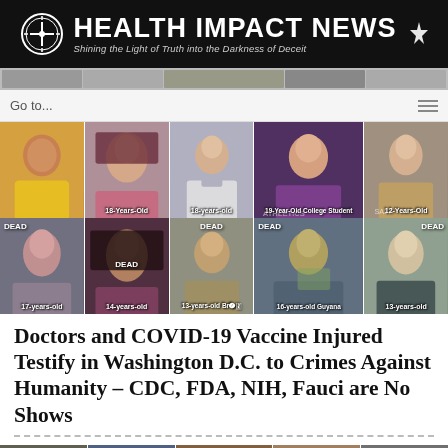[Figure (logo): Health Impact News logo banner with dark background, cross/compass logo icon, site title and tagline]
[Figure (photo): Navigation strip with thumbnail images of people]
[Figure (photo): Go to... navigation dropdown bar]
[Figure (photo): Grid of young people photos labeled with ages: 18-Years-Old, 18-years-old, 19-Year-Old College Student, 12-Years-Old in top row; DEAD labels on bottom row: DEAD 17-years-old, DEAD 14-years-old, DEAD 13-years-old Brazil, DEAD 16-years-old Guyana, DEAD 13-years-old]
Doctors and COVID-19 Vaccine Injured Testify in Washington D.C. to Crimes Against Humanity – CDC, FDA, NIH, Fauci are No Shows
[Figure (photo): Strip of five people testifying, including a blonde woman, a young man in a suit, a bald man with beard, a young woman, and a young man]